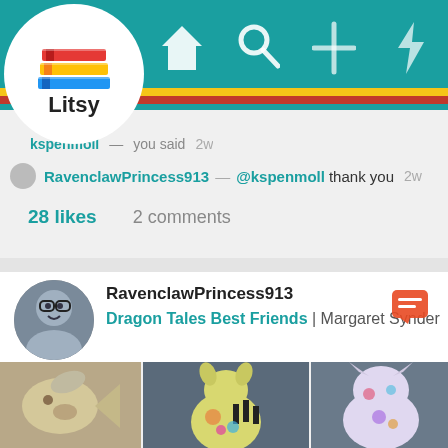[Figure (screenshot): Litsy app screenshot showing navigation bar with logo, home, search, add, notification, and profile icons]
kspenmoll  You said  2w
RavenclawPrincess913 — @kspenmoll thank you  2w
28 likes   2 comments
RavenclawPrincess913
Dragon Tales Best Friends | Margaret Synder
[Figure (photo): Three photos of stuffed dragon plush toys on gray fabric background]